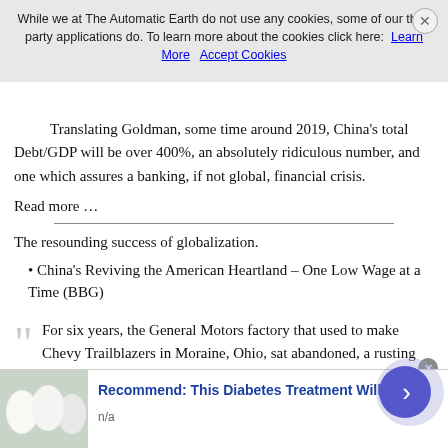intensive, to achieve the minimum 6.5% full-year growth target. This poses constraints on how much further the PBOC can keep reinventing credit, in our view.
Translating Goldman, some time around 2019, China's total Debt/GDP will be over 400%, an absolutely ridiculous number, and one which assures a banking, if not global, financial crisis.
Read more …
The resounding success of globalization.
China's Reviving the American Heartland – One Low Wage at a Time (BBG)
For six years, the General Motors factory that used to make Chevy Trailblazers in Moraine, Ohio, sat abandoned, a rusting
[Figure (other): Advertisement banner: Recommend: This Diabetes Treatment Will, n/a, with egg image and purple arrow button]